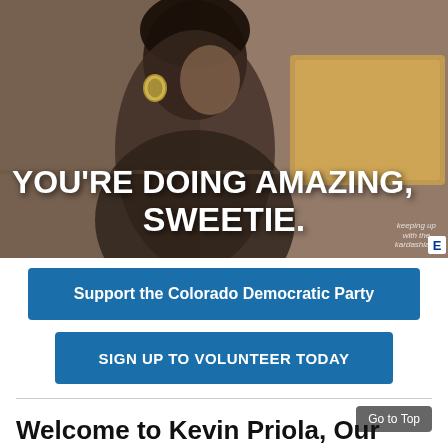[Figure (photo): Screenshot from Keeping Up with the Kardashians TV show, showing a woman with short dark hair and hoop earrings looking down, with text overlay reading YOU'RE DOING AMAZING, SWEETIE. and the E! network watermark.]
Support the Colorado Democratic Party
SIGN UP TO VOLUNTEER TODAY
Go to Top
Welcome to Kevin Priola, Our Newest